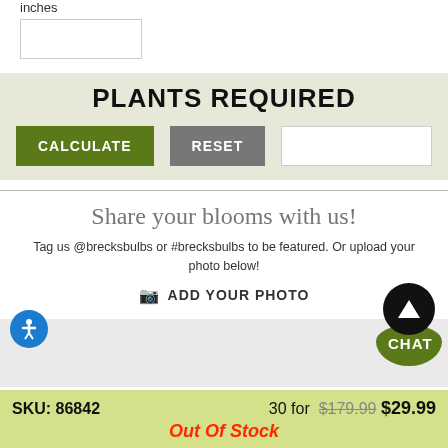inches
PLANTS REQUIRED
CALCULATE   RESET
Share your blooms with us!
Tag us @brecksbulbs or #brecksbulbs to be featured. Or upload your photo below!
ADD YOUR PHOTO
[Figure (photo): Light gray photo upload placeholder area]
SKU: 86842   30 for  $179.99  $29.99
Out Of Stock